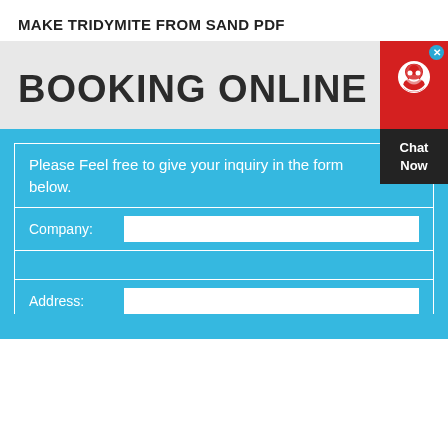MAKE TRIDYMITE FROM SAND PDF
BOOKING ONLINE
[Figure (screenshot): Chat Now widget with red top section showing avatar and blue close button, dark bottom section with 'Chat Now' text]
Please Feel free to give your inquiry in the form below.
Company:
Address: